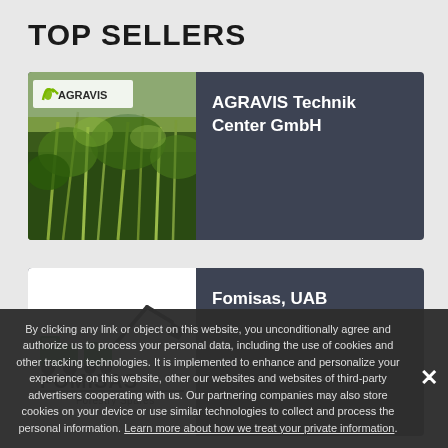TOP SELLERS
[Figure (logo): AGRAVIS Technik Center GmbH card with company logo and crop field image]
AGRAVIS Technik Center GmbH
[Figure (logo): Fomisas, UAB card with Fomisas Forestry Spares logo on white background]
Fomisas, UAB
By clicking any link or object on this website, you unconditionally agree and authorize us to process your personal data, including the use of cookies and other tracking technologies. It is implemented to enhance and personalize your experience on this website, other our websites and websites of third-party advertisers cooperating with us. Our partnering companies may also store cookies on your device or use similar technologies to collect and process the personal information. Learn more about how we treat your private information.